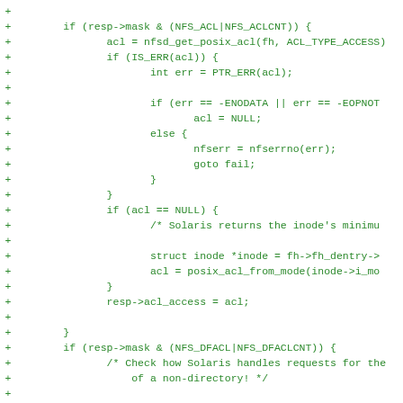[Figure (other): Code diff snippet showing C source code with added lines (marked with +) in green monospace font. The code shows NFS ACL handling logic including nfsd_get_posix_acl calls, IS_ERR checks, error handling with goto fail, NULL ACL handling with posix_acl_from_mode, and NFS_DFACL mask checks.]